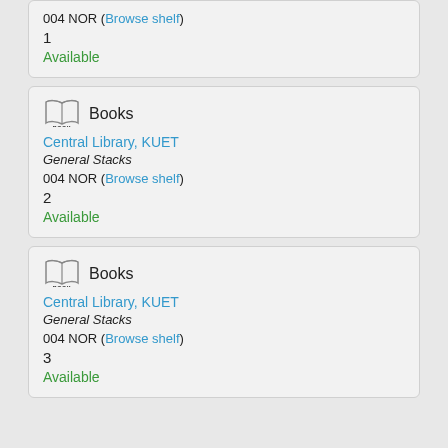004 NOR (Browse shelf)
1
Available
[Figure (illustration): Open book icon with label BOOK below it]
Books
Central Library, KUET
General Stacks
004 NOR (Browse shelf)
2
Available
[Figure (illustration): Open book icon with label BOOK below it]
Books
Central Library, KUET
General Stacks
004 NOR (Browse shelf)
3
Available